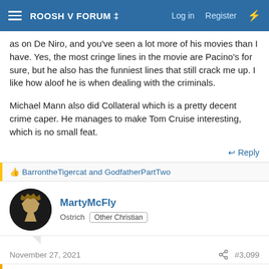ROOSH V FORUM ‡ | Log in | Register
as on De Niro, and you've seen a lot more of his movies than I have. Yes, the most cringe lines in the movie are Pacino's for sure, but he also has the funniest lines that still crack me up. I like how aloof he is when dealing with the criminals.
Michael Mann also did Collateral which is a pretty decent crime caper. He manages to make Tom Cruise interesting, which is no small feat.
↩ Reply
👍 BarrontheTigercat and GodfatherPartTwo
MartyMcFly
Ostrich  Other Christian
November 27, 2021   🔗 #3,099
fireshark said: ⊕